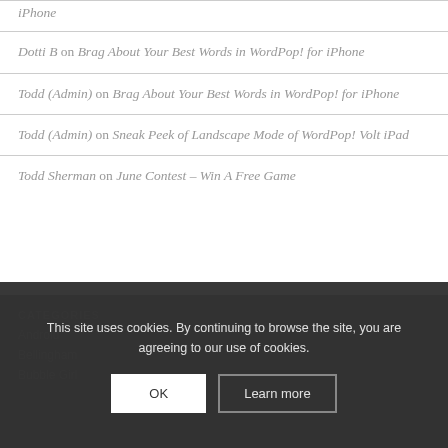Dotti B on Brag About Your Best Words in WordPop! for iPhone
Todd (Admin) on Brag About Your Best Words in WordPop! for iPhone
Todd (Admin) on Sneak Peek of Landscape Mode of WordPop! Volt iPad
Todd Sherman on June Contest – Win A Free Game
CATEGORIES
Android
Bellingham
Bubble Girl
This site uses cookies. By continuing to browse the site, you are agreeing to our use of cookies.